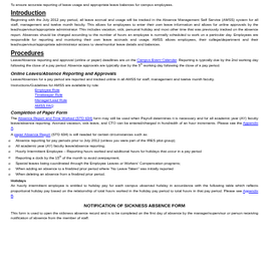To ensure accurate reporting of leave usage and appropriate leave balances for campus employees.
Introduction
Beginning with the July 2012 pay period, all leave accrual and usage will be tracked in the Absence Management Self Service (AMSS) system for all staff, management and twelve month faculty. This allows for employees to enter their own leave information and allows for online approvals by the lead/supervisor/appropriate administrator. This includes vacation, sick, personal holiday and most other time that was previously tracked on the absence report. Absences should be charged according to the number of hours an employee is normally scheduled to work on a particular day. Employees are responsible for reporting and monitoring their own leave accruals and usage. AMSS allows employees, their college/department and their lead/supervisor/appropriate administrator access to view/monitor leave details and balances.
Procedures
Leave/Absence reporting and approval (online or paper) deadlines are on the Campus Event Calendar. Reporting is typically due by the 2nd working day following the close of a pay period. Absence approvals are typically due by the 5th working day following the close of a pay period.
Online Leaves/Absence Reporting and Approvals
Leave/Absences for a pay period are reported and tracked online in all AMSS for staff, management and twelve month faculty.
Instructions/Guidelines for AMSS are available by role:
Employee Role
Timekeeper Role
Manager/Lead Role
AMSS FAQ
Completion of Paper Form
The Absence Report and Time Worked (STD 634) form may still be used when Payroll determines it is necessary and for all academic year (AY) faculty leave/absence reporting. Accrued vacation, sick leave, and CTO can be entered/charged in hundredth of an hour increments. Please see the Appendix A.
A paper Absence Report (STD 634) is still needed for certain circumstances such as:
Absence reporting for pay periods prior to July 2012 (unless you were part of the IRES pilot group);
All academic year (AY) faculty leave/absence reporting;
Hourly Intermittent Employee – Reporting hours worked and additional hours for holidays that occur in a pay period
Reporting a dock by the 15th of the month to avoid overpayment;
Special leaves being coordinated through the Employee Leaves or Workers' Compensation programs;
When adding an absence to a finalized prior period where "No Leave Taken" was initially reported
When deleting an absence from a finalized prior period.
Holidays
An hourly intermittent employee is entitled to holiday pay for each campus observed holiday in accordance with the following table which reflects proportional holiday pay based on the relationship of total hours worked in the holiday pay period to total hours in that pay period. Please see Appendix B.
NOTIFICATION OF SICKNESS ABSENCE FORM
This form is used to open the sickness absence record and is to be completed on the first day of absence by the manager/supervisor or person receiving notification of absence from the member of staff.